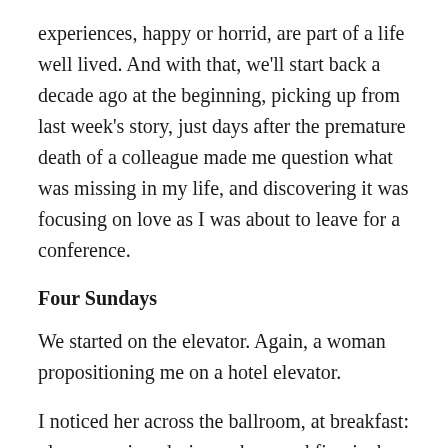experiences, happy or horrid, are part of a life well lived. And with that, we'll start back a decade ago at the beginning, picking up from last week's story, just days after the premature death of a colleague made me question what was missing in my life, and discovering it was focusing on love as I was about to leave for a conference.
Four Sundays
We started on the elevator. Again, a woman propositioning me on a hotel elevator.
I noticed her across the ballroom, at breakfast: glamorous in a designer dress and five-inch YSL heels. She took the seat next to mine at dinner. Then as the group reconvened at the hotel bar. I was flattered as this gorgeous, accomplished, Ivy-educated woman